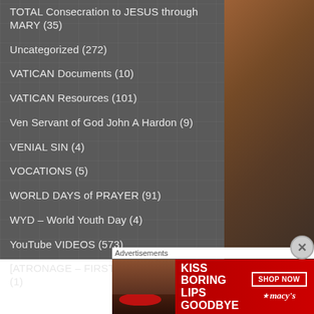TOTAL Consecration to JESUS through MARY (35)
Uncategorized (272)
VATICAN Documents (10)
VATICAN Resources (101)
Ven Servant of God John A Hardon (9)
VENIAL SIN (4)
VOCATIONS (5)
WORLD DAYS of PRAYER (91)
WYD – World Youth Day (4)
YouTube VIDEOS (573)
[ATRONAGE – FIRST COMMUNICANTS (1)
Advertisements
[Figure (photo): Macy's advertisement: KISS BORING LIPS GOODBYE with SHOP NOW button and macy's logo, featuring a model with red lips]